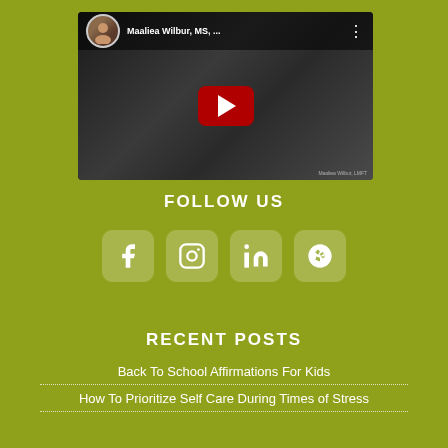[Figure (screenshot): YouTube video thumbnail showing a woman, with a circular avatar of a man in the top-left, title 'Maaliea Wilbur, MS, ...' in the video header, a red YouTube play button in the center, and a watermark at bottom-right.]
FOLLOW US
[Figure (infographic): Four social media icons in rounded square boxes: Facebook, Instagram, LinkedIn, Yelp]
RECENT POSTS
Back To School Affirmations For Kids
How To Prioritize Self Care During Times of Stress